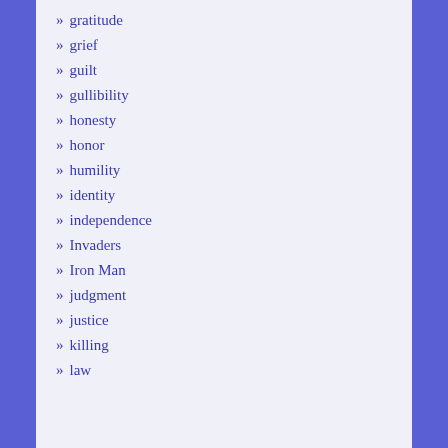» gratitude
» grief
» guilt
» gullibility
» honesty
» honor
» humility
» identity
» independence
» Invaders
» Iron Man
» judgment
» justice
» killing
» law